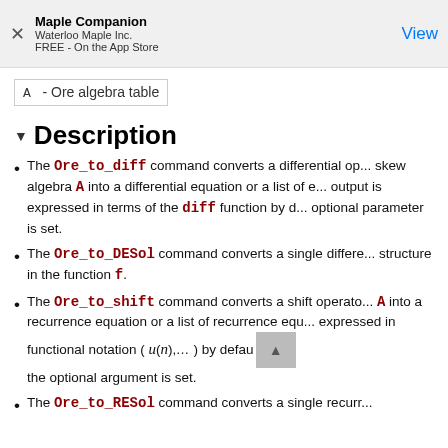Maple Companion
Waterloo Maple Inc.
FREE - On the App Store
View
A   - Ore algebra table
▼ Description
The Ore_to_diff command converts a differential operator in the skew algebra A into a differential equation or a list of equations. The output is expressed in terms of the diff function by default, unless an optional parameter is set.
The Ore_to_DESol command converts a single differential operator structure in the function f.
The Ore_to_shift command converts a shift operator in the skew algebra A into a recurrence equation or a list of recurrence equations expressed in functional notation ( u(n),... ) by default, unless the optional argument is set.
The Ore_to_RESol command converts a single recurrence